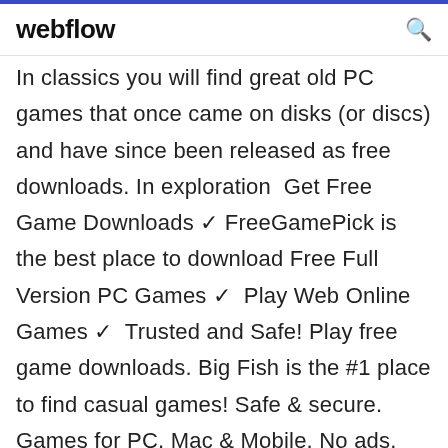webflow
In classics you will find great old PC games that once came on disks (or discs) and have since been released as free downloads. In exploration  Get Free Game Downloads ✓ FreeGamePick is the best place to download Free Full Version PC Games ✓  Play Web Online Games ✓  Trusted and Safe! Play free game downloads. Big Fish is the #1 place to find casual games! Safe & secure. Games for PC, Mac & Mobile. No ads. Helpful customer service! Free Software Download with Download Astro. Recommended Windows PC apps, reviews and rating. All the best free software and games for Windows. Bring out your inner gamer and make the most of these